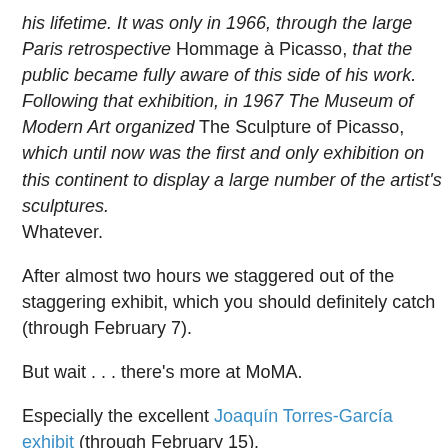his lifetime. It was only in 1966, through the large Paris retrospective Hommage à Picasso, that the public became fully aware of this side of his work. Following that exhibition, in 1967 The Museum of Modern Art organized The Sculpture of Picasso, which until now was the first and only exhibition on this continent to display a large number of the artist's sculptures.
Whatever.
After almost two hours we staggered out of the staggering exhibit, which you should definitely catch (through February 7).
But wait . . . there's more at MoMA.
Especially the excellent Joaquín Torres-García exhibit (through February 15).